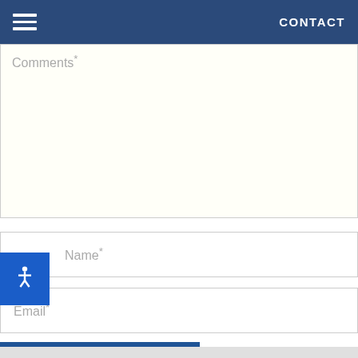CONTACT
Comments*
Name*
Email*
POST COMMENT